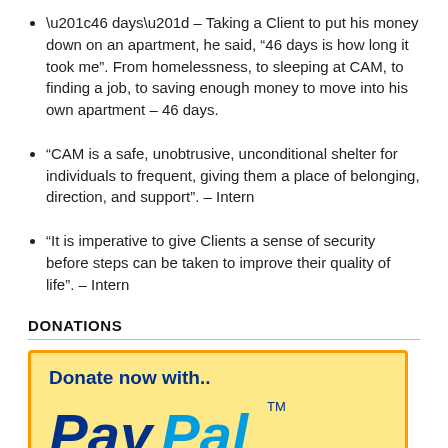“46 days” – Taking a Client to put his money down on an apartment, he said, “46 days is how long it took me”. From homelessness, to sleeping at CAM, to finding a job, to saving enough money to move into his own apartment – 46 days.
“CAM is a safe, unobtrusive, unconditional shelter for individuals to frequent, giving them a place of belonging, direction, and support”. – Intern
“It is imperative to give Clients a sense of security before steps can be taken to improve their quality of life”. – Intern
DONATIONS
[Figure (logo): PayPal donation banner: yellow background with orange border, text 'Donate now with..' in dark blue bold, and PayPal logo in dark blue italic bold text with TM mark]